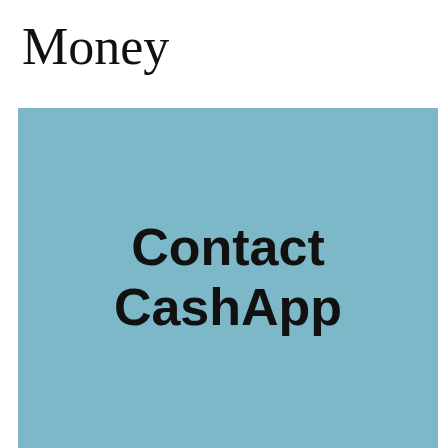Money
[Figure (illustration): A blue-teal square image with bold text reading 'Contact CashApp' centered on it]